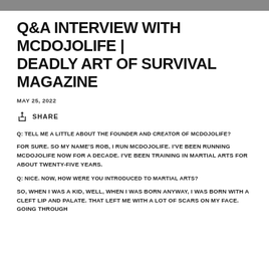Q&A INTERVIEW WITH MCDOJOLIFE | DEADLY ART OF SURVIVAL MAGAZINE
MAY 25, 2022
SHARE
Q: TELL ME A LITTLE ABOUT THE FOUNDER AND CREATOR OF MCDOJOLIFE?
FOR SURE. SO MY NAME'S ROB, I RUN MCDOJOLIFE. I'VE BEEN RUNNING MCDOJOLIFE NOW FOR A DECADE. I'VE BEEN TRAINING IN MARTIAL ARTS FOR ABOUT TWENTY-FIVE YEARS.
Q: NICE. NOW, HOW WERE YOU INTRODUCED TO MARTIAL ARTS?
SO, WHEN I WAS A KID, WELL, WHEN I WAS BORN ANYWAY, I WAS BORN WITH A CLEFT LIP AND PALATE. THAT LEFT ME WITH A LOT OF SCARS ON MY FACE. GOING THROUGH